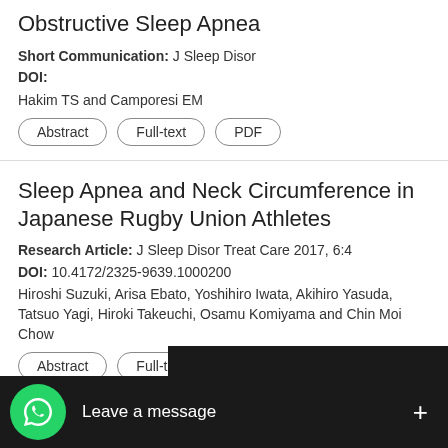Obstructive Sleep Apnea
Short Communication: J Sleep Disor
DOI:
Hakim TS and Camporesi EM
Abstract | Full-text | PDF
Sleep Apnea and Neck Circumference in Japanese Rugby Union Athletes
Research Article: J Sleep Disor Treat Care 2017, 6:4
DOI: 10.4172/2325-9639.1000200
Hiroshi Suzuki, Arisa Ebato, Yoshihiro Iwata, Akihiro Yasuda, Tatsuo Yagi, Hiroki Takeuchi, Osamu Komiyama and Chin Moi Chow
Abstract | Full-text | PDF
Improved Sleep Quality in Patients Affected by Nocturnal Frontal Lobe Epilepsy (NFLE) Treated with Lacosamide: Cases Report
Case Report: J Sleep Disor Treat Care 2017, 6:3
DOI:
[Figure (screenshot): WhatsApp chat widget overlay with green phone icon and 'Leave a message' text and + button on dark background]